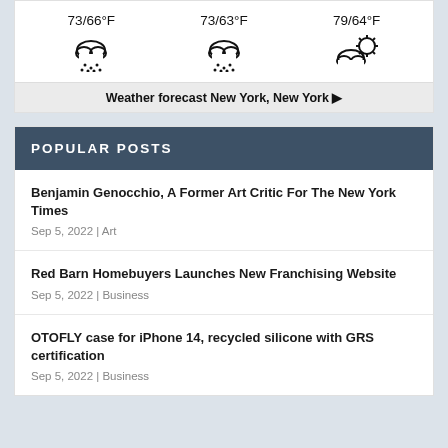[Figure (infographic): Weather forecast widget showing three days with temperatures and weather icons: 73/66°F (rain cloud), 73/63°F (rain cloud), 79/64°F (partly cloudy with sun)]
Weather forecast New York, New York ▶
POPULAR POSTS
Benjamin Genocchio, A Former Art Critic For The New York Times
Sep 5, 2022 | Art
Red Barn Homebuyers Launches New Franchising Website
Sep 5, 2022 | Business
OTOFLY case for iPhone 14, recycled silicone with GRS certification
Sep 5, 2022 | Business